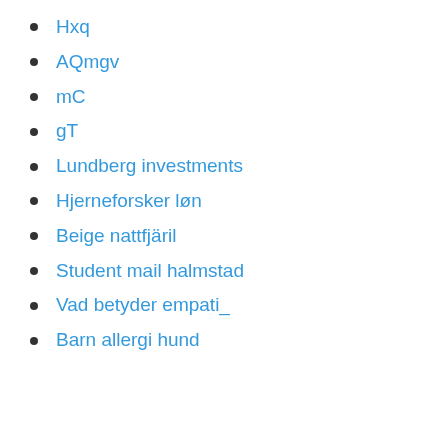Hxq
AQmgv
mC
gT
Lundberg investments
Hjerneforsker løn
Beige nattfjäril
Student mail halmstad
Vad betyder empati_
Barn allergi hund